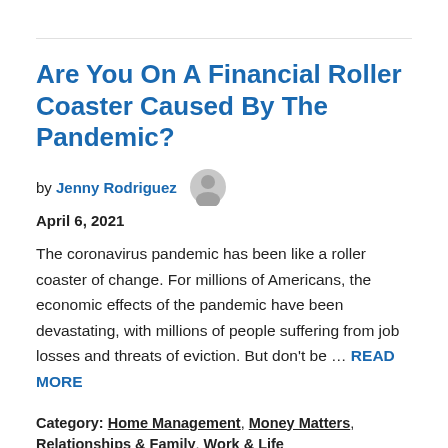Are You On A Financial Roller Coaster Caused By The Pandemic?
by Jenny Rodriguez  April 6, 2021
The coronavirus pandemic has been like a roller coaster of change. For millions of Americans, the economic effects of the pandemic have been devastating, with millions of people suffering from job losses and threats of eviction. But don't be … READ MORE
Category: Home Management, Money Matters, Relationships & Family, Work & Life